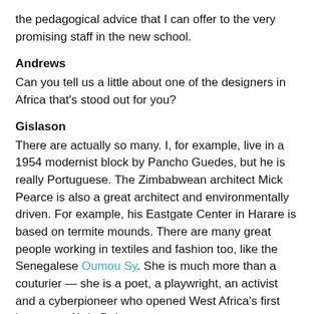the pedagogical advice that I can offer to the very promising staff in the new school.
Andrews
Can you tell us a little about one of the designers in Africa that's stood out for you?
Gislason
There are actually so many. I, for example, live in a 1954 modernist block by Pancho Guedes, but he is really Portuguese. The Zimbabwean architect Mick Pearce is also a great architect and environmentally driven. For example, his Eastgate Center in Harare is based on termite mounds. There are many great people working in textiles and fashion too, like the Senegalese Oumou Sy. She is much more than a couturier — she is a poet, a playwright, an activist and a cyberpioneer who opened West Africa's first internet café, in Dakar.